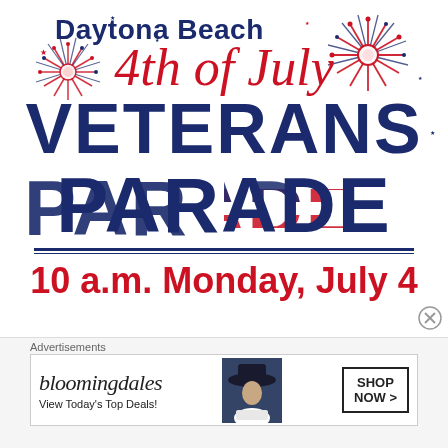Daytona Beach 4th of July VETERANS PARADE
10 a.m. Monday, July 4
[Figure (illustration): Fireworks decorations in red, white and blue around the event title]
Advertisements
[Figure (other): Bloomingdale's advertisement banner: View Today's Top Deals! SHOP NOW >]